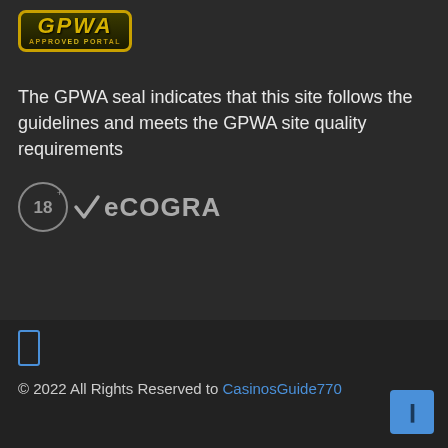[Figure (logo): GPWA Approved Portal badge with gold border]
The GPWA seal indicates that this site follows the guidelines and meets the GPWA site quality requirements
[Figure (logo): 18+ eCOGRA logo with checkmark]
[Figure (logo): Facebook icon blue square outline]
© 2022 All Rights Reserved to CasinosGuide770